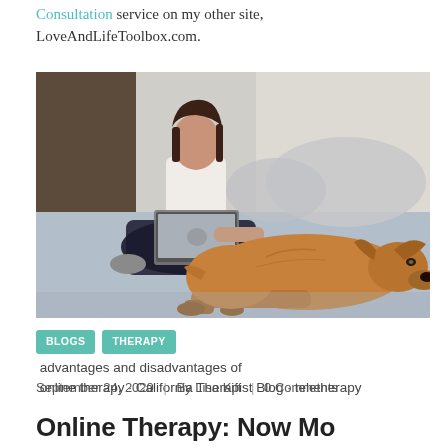Consultation service on my other site, LoveAndLifeToolbox.com.
[Figure (photo): Woman sitting on a bed using a laptop computer with a golden retriever dog lying in front of her on the bed.]
BLOGS  THERAPY  advantages and disadvantages of online therapy · California Therapist Blog · teletherapy
September 24, 2020  |  By Lisa Kift  |  0 Comments
Online Therapy: Now Mo...